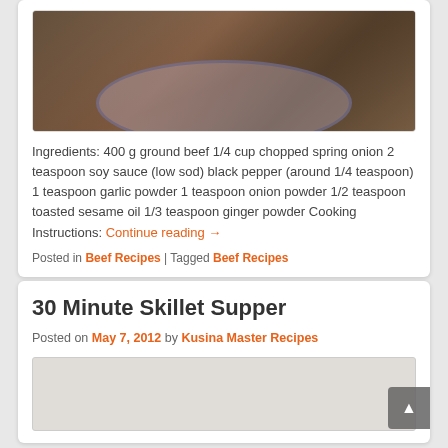[Figure (photo): Photo of a meat patty topped with caramelized onions and mushrooms served on a blue plate with mashed potatoes]
Ingredients: 400 g ground beef 1/4 cup chopped spring onion 2 teaspoon soy sauce (low sod) black pepper (around 1/4 teaspoon) 1 teaspoon garlic powder 1 teaspoon onion powder 1/2 teaspoon toasted sesame oil 1/3 teaspoon ginger powder Cooking Instructions: Continue reading →
Posted in Beef Recipes | Tagged Beef Recipes
30 Minute Skillet Supper
Posted on May 7, 2012 by Kusina Master Recipes
[Figure (photo): Partial food photo for 30 Minute Skillet Supper article]